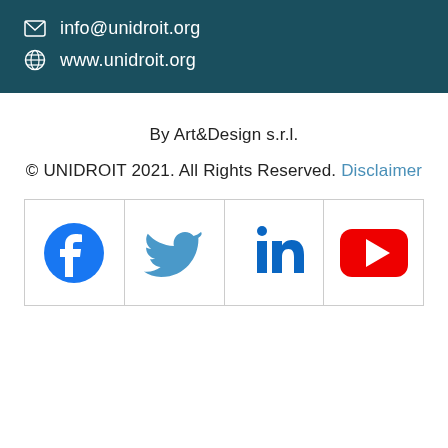info@unidroit.org
www.unidroit.org
By Art&Design s.r.l.
© UNIDROIT 2021. All Rights Reserved. Disclaimer
[Figure (infographic): Four social media icons in a 1x4 grid: Facebook (blue circle with white f), Twitter (blue bird), LinkedIn (blue 'in'), YouTube (red rectangle with white play button)]